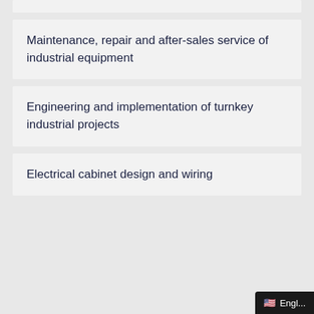Maintenance, repair and after-sales service of industrial equipment
Engineering and implementation of turnkey industrial projects
Electrical cabinet design and wiring